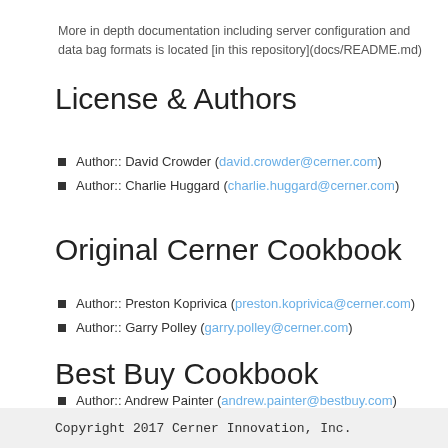More in depth documentation including server configuration and data bag formats is located [in this repository](docs/README.md)
License & Authors
Author:: David Crowder (david.crowder@cerner.com)
Author:: Charlie Huggard (charlie.huggard@cerner.com)
Original Cerner Cookbook
Author:: Preston Koprivica (preston.koprivica@cerner.com)
Author:: Garry Polley (garry.polley@cerner.com)
Best Buy Cookbook
Author:: Andrew Painter (andrew.painter@bestbuy.com)
Author:: Bryan Brandau (bryan.brandau@bestbuy.com)
Author:: Aaron Peterson (aaron@opscode.com)
Copyright 2017 Cerner Innovation, Inc.